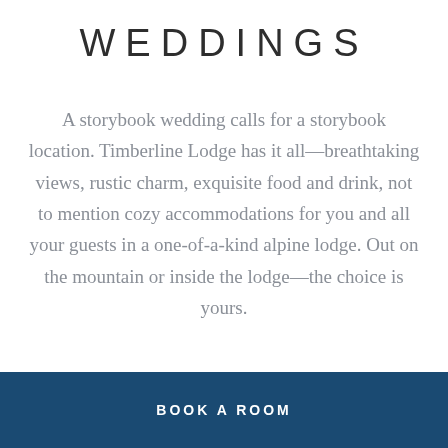WEDDINGS
A storybook wedding calls for a storybook location. Timberline Lodge has it all—breathtaking views, rustic charm, exquisite food and drink, not to mention cozy accommodations for you and all your guests in a one-of-a-kind alpine lodge. Out on the mountain or inside the lodge—the choice is yours.
BOOK A ROOM